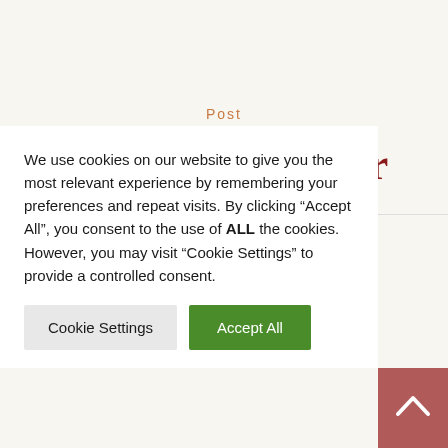Post
Latest Newsletter
We use cookies on our website to give you the most relevant experience by remembering your preferences and repeat visits. By clicking “Accept All”, you consent to the use of ALL the cookies. However, you may visit “Cookie Settings” to provide a controlled consent.
Cookie Settings | Accept All